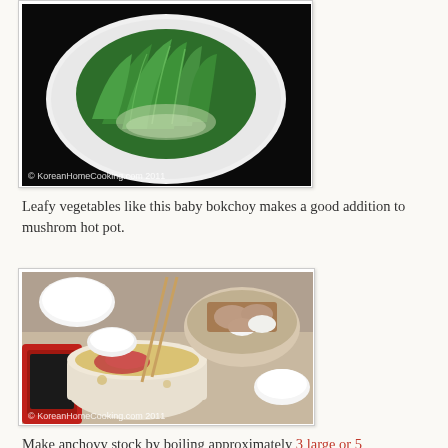[Figure (photo): Baby bokchoy on a white plate against black background, with watermark '© KoreanHomeCooking.com 2011']
Leafy vegetables like this baby bokchoy makes a good addition to mushrom hot pot.
[Figure (photo): Hot pot setup on a portable stove with broth and meat, chopsticks, mushrooms in bowl, white dishes, with watermark '© KoreanHomeCooking.com 2011']
Make anchovy stock by boiling approximately 3 large or 5